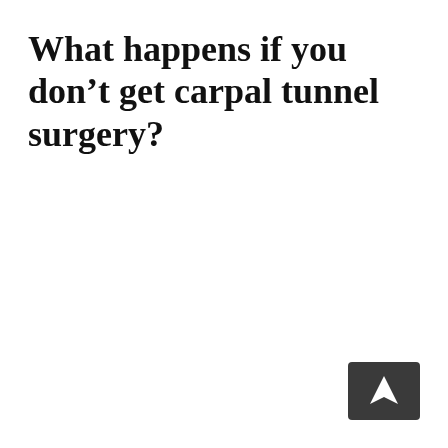What happens if you don’t get carpal tunnel surgery?
[Figure (other): Dark grey navigation button with a white upward-pointing arrow/cursor icon in the bottom-right corner]